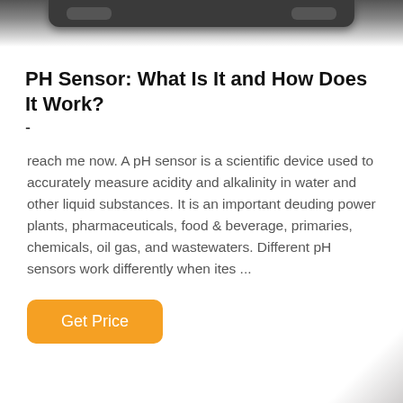[Figure (photo): Top portion of a dark-colored pH sensor device against a white background, showing the bottom connector/cap portion of the device]
PH Sensor: What Is It and How Does It Work?
-
reach me now. A pH sensor is a scientific device used to accurately measure acidity and alkalinity in water and other liquid substances. It is an important deuding power plants, pharmaceuticals, food & beverage, primaries, chemicals, oil gas, and wastewaters. Different pH sensors work differently when ites ...
Get Price